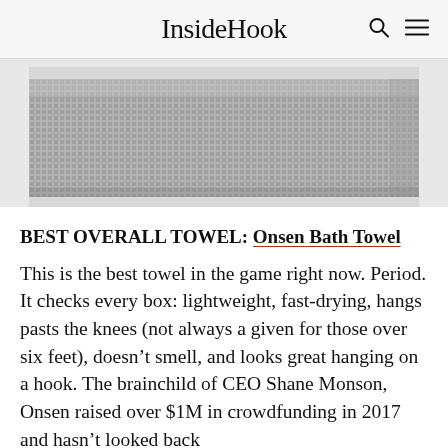InsideHook
[Figure (photo): A folded grey waffle-knit bath towel photographed against a light background, cropped to show the texture and fold detail.]
BEST OVERALL TOWEL: Onsen Bath Towel
This is the best towel in the game right now. Period. It checks every box: lightweight, fast-drying, hangs pasts the knees (not always a given for those over six feet), doesn’t smell, and looks great hanging on a hook. The brainchild of CEO Shane Monson, Onsen raised over $1M in crowdfunding in 2017 and hasn’t looked back